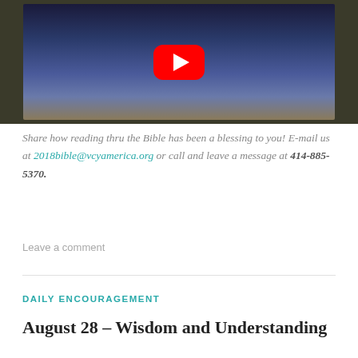[Figure (screenshot): YouTube video thumbnail showing an illustrated children's book cover with characters on a path under a full moon, with a YouTube play button overlay]
Share how reading thru the Bible has been a blessing to you! E-mail us at 2018bible@vcyamerica.org or call and leave a message at 414-885-5370.
Leave a comment
DAILY ENCOURAGEMENT
August 28 – Wisdom and Understanding